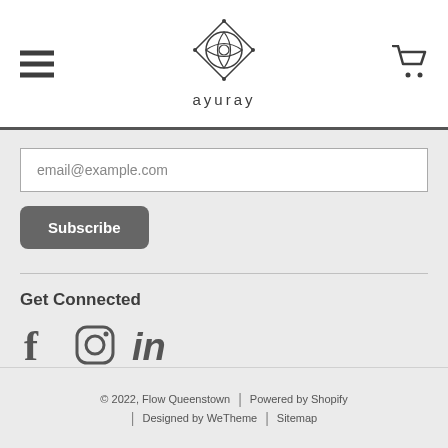ayuray
[Figure (logo): Ayuray brand logo — geometric diamond/flower mandala SVG above the text 'ayuray']
email@example.com
Subscribe
Get Connected
[Figure (other): Social media icons: Facebook (f), Instagram (camera circle), LinkedIn (in)]
© 2022, Flow Queenstown | Powered by Shopify | Designed by WeTheme | Sitemap